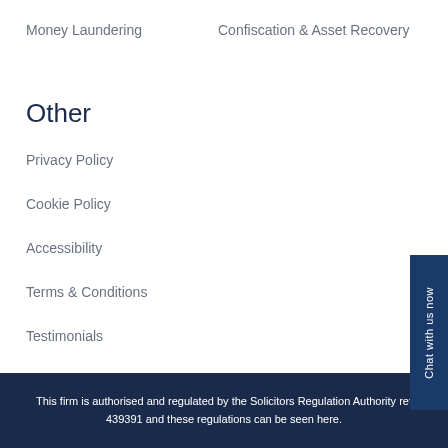Money Laundering
Confiscation & Asset Recovery
Other
Privacy Policy
Cookie Policy
Accessibility
Terms & Conditions
Testimonials
This firm is authorised and regulated by the Solicitors Regulation Authority ref 439391 and these regulations can be seen here.